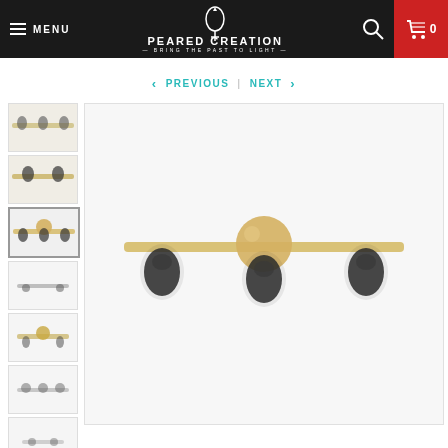MENU | PEARED CREATION — BRING THE PAST TO LIGHT — | Search | Cart 0
< PREVIOUS | NEXT >
[Figure (photo): Thumbnail strip of 8 small product photos of wall light fixtures]
[Figure (photo): Main large product photo of a three-bulb brass wall sconce light fixture with black sockets on a white background]